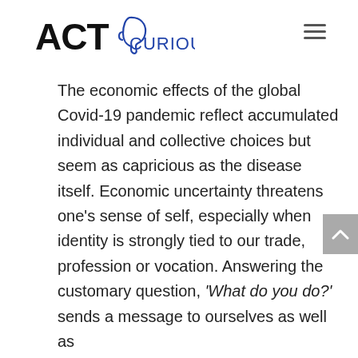ACT CURIOUS
The economic effects of the global Covid-19 pandemic reflect accumulated individual and collective choices but seem as capricious as the disease itself. Economic uncertainty threatens one’s sense of self, especially when identity is strongly tied to our trade, profession or vocation. Answering the customary question, ‘What do you do?’ sends a message to ourselves as well as